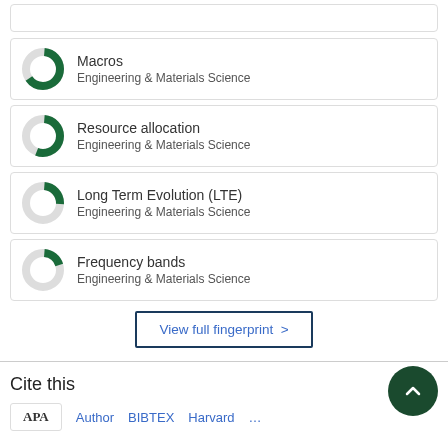[Figure (donut-chart): Donut chart showing ~65% fill for Macros - Engineering & Materials Science]
Macros
Engineering & Materials Science
[Figure (donut-chart): Donut chart showing ~55% fill for Resource allocation - Engineering & Materials Science]
Resource allocation
Engineering & Materials Science
[Figure (donut-chart): Donut chart showing ~25% fill for Long Term Evolution (LTE) - Engineering & Materials Science]
Long Term Evolution (LTE)
Engineering & Materials Science
[Figure (donut-chart): Donut chart showing ~20% fill for Frequency bands - Engineering & Materials Science]
Frequency bands
Engineering & Materials Science
View full fingerprint >
Cite this
APA  Author  BIBTEX  Harvard  ...